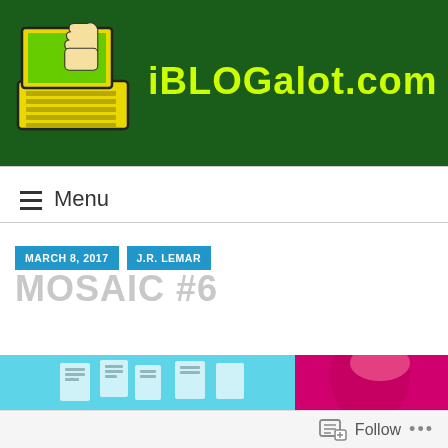[Figure (logo): iBLOGalot.com website header banner with dark green background, cartoon laptop with thumbs-up hand logo, and yellow-green site title text]
≡ Menu
MARCH 8, 2017
J.R. LEMAR
MOSAIC #6
[Figure (illustration): Partial view of article header image showing cyan/teal background with comic-style graphics and a magenta-toned woman's face on the right]